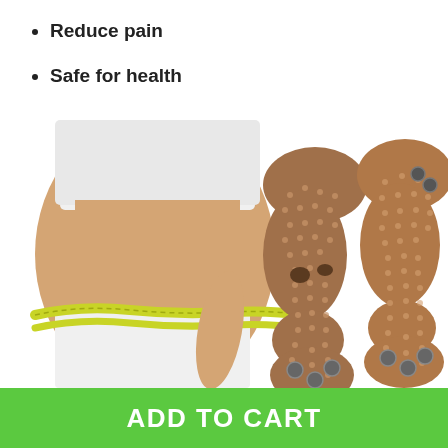Reduce pain
Safe for health
[Figure (photo): A woman in white crop top and shorts measuring her waist with a yellow tape measure, alongside two brown magnetic acupressure insoles with metal magnets]
ADD TO CART